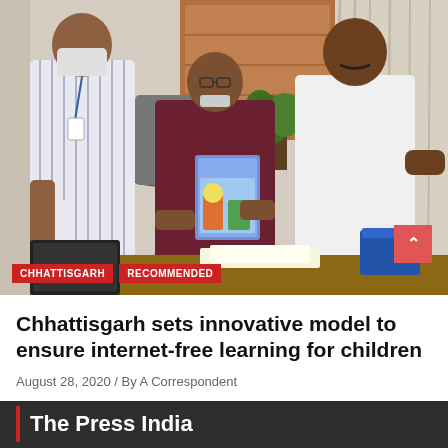[Figure (photo): Three men in an office setting. The man on the left wears a striped shirt and face mask with a lanyard/ID badge. The man in the center wears a maroon/dark red kurta and holds up a colorful illustrated book or pamphlet. The man on the right wears a white kurta and gestures with his hands. There is office furniture, a blue folder, a plant, and curtains in the background. Red tag overlays read CHHATTISGARH and RECOMMENDED.]
Chhattisgarh sets innovative model to ensure internet-free learning for children
August 28, 2020 / By A Correspondent
The Press India